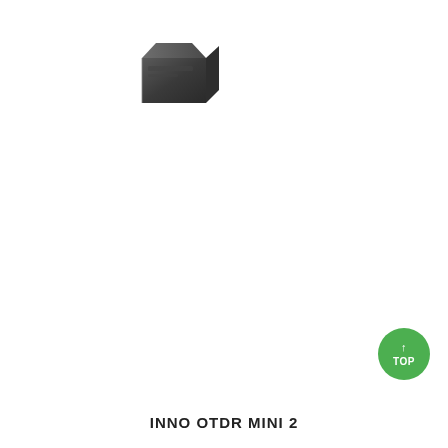[Figure (photo): Partial view of the INNO OTDR MINI 2 device, showing the top-left corner of a small dark grey handheld OTDR instrument]
[Figure (other): Green circular TOP button (scroll-to-top UI element) with an upward arrow icon and the text TOP]
INNO OTDR MINI 2